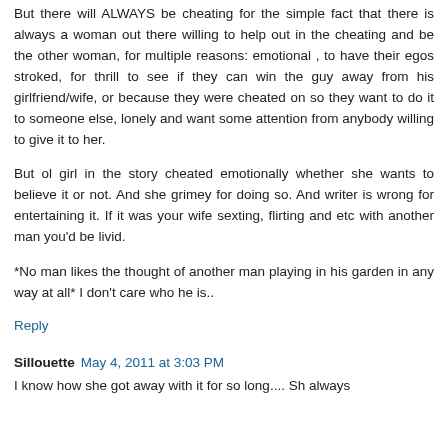But there will ALWAYS be cheating for the simple fact that there is always a woman out there willing to help out in the cheating and be the other woman, for multiple reasons: emotional , to have their egos stroked, for thrill to see if they can win the guy away from his girlfriend/wife, or because they were cheated on so they want to do it to someone else, lonely and want some attention from anybody willing to give it to her.
But ol girl in the story cheated emotionally whether she wants to believe it or not. And she grimey for doing so. And writer is wrong for entertaining it. If it was your wife sexting, flirting and etc with another man you'd be livid.
*No man likes the thought of another man playing in his garden in any way at all* I don't care who he is..
Reply
Sillouette May 4, 2011 at 3:03 PM
I know how she got away with it for so long.... Sh always